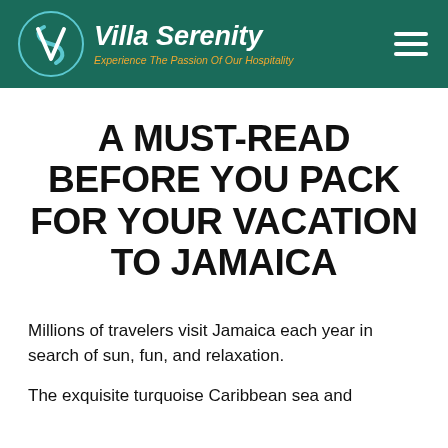Villa Serenity — Experience The Passion Of Our Hospitality
A MUST-READ BEFORE YOU PACK FOR YOUR VACATION TO JAMAICA
Millions of travelers visit Jamaica each year in search of sun, fun, and relaxation.
The exquisite turquoise Caribbean sea and